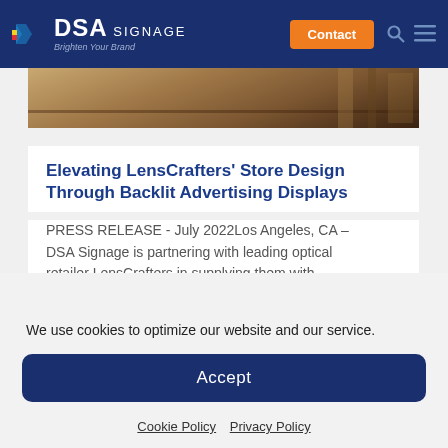DSA SIGNAGE — Brighten Your Brand
[Figure (photo): Partial photo of a store interior showing wooden shelving and metal fixtures]
Elevating LensCrafters' Store Design Through Backlit Advertising Displays
PRESS RELEASE - July 2022Los Angeles, CA – DSA Signage is partnering with leading optical retailer LensCrafters in supplying them with...
read more
We use cookies to optimize our website and our service.
Accept
Cookie Policy   Privacy Policy